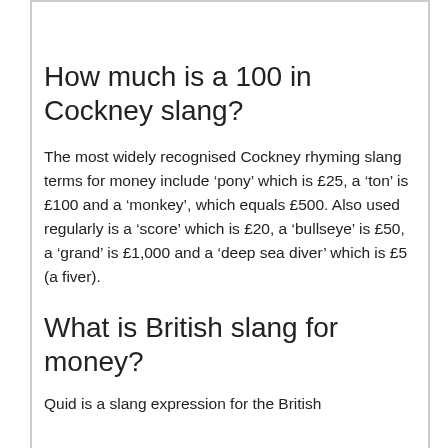How much is a 100 in Cockney slang?
The most widely recognised Cockney rhyming slang terms for money include ‘pony’ which is £25, a ‘ton’ is £100 and a ‘monkey’, which equals £500. Also used regularly is a ‘score’ which is £20, a ‘bullseye’ is £50, a ‘grand’ is £1,000 and a ‘deep sea diver’ which is £5 (a fiver).
What is British slang for money?
Quid is a slang expression for the British